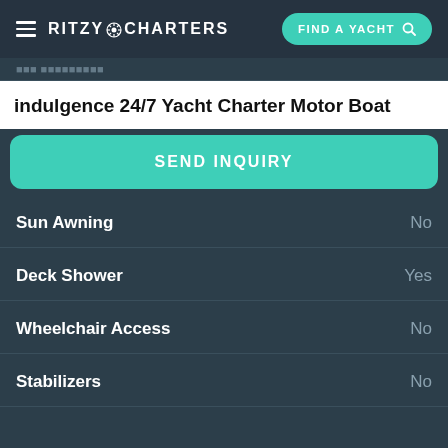RITZY CHARTERS | FIND A YACHT
indulgence 24/7 Yacht Charter Motor Boat
Air Conditioning | Fu...
SEND INQUIRY
Sun Awning — No
Deck Shower — Yes
Wheelchair Access — No
Stabilizers — No